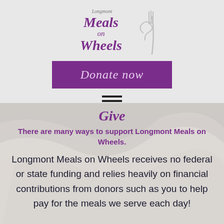[Figure (logo): Longmont Meals on Wheels logo with fork graphic, purple italic text]
[Figure (other): Purple 'Donate now' button in italic serif font]
[Figure (other): Hamburger menu icon (two horizontal bars)]
Give
There are many ways to support Longmont Meals on Wheels.
Longmont Meals on Wheels receives no federal or state funding and relies heavily on financial contributions from donors such as you to help pay for the meals we serve each day!